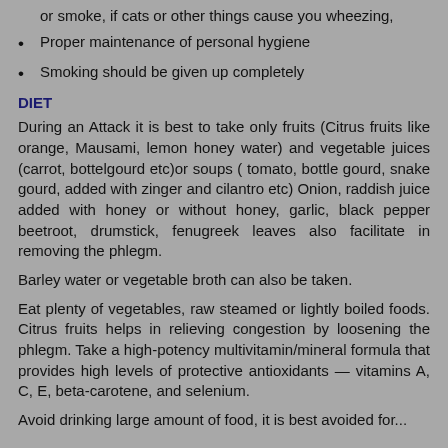or smoke, if cats or other things cause you wheezing,
Proper maintenance of personal hygiene
Smoking should be given up completely
DIET
During an Attack it is best to take only fruits (Citrus fruits like orange, Mausami, lemon honey water) and vegetable juices (carrot, bottelgourd etc)or soups ( tomato, bottle gourd, snake gourd, added with zinger and cilantro etc) Onion, raddish juice added with honey or without honey, garlic, black pepper beetroot, drumstick, fenugreek leaves also facilitate in removing the phlegm.
Barley water or vegetable broth can also be taken.
Eat plenty of vegetables, raw steamed or lightly boiled foods. Citrus fruits helps in relieving congestion by loosening the phlegm. Take a high-potency multivitamin/mineral formula that provides high levels of protective antioxidants — vitamins A, C, E, beta-carotene, and selenium.
Avoid drinking large amount of food, it is best avoided for...